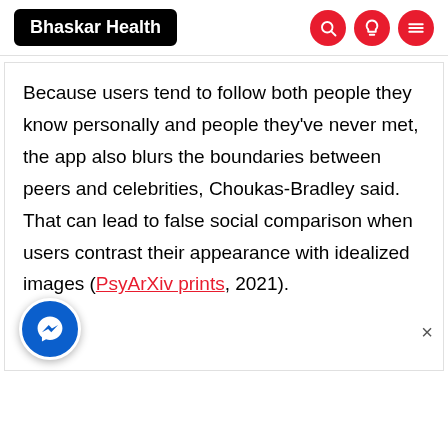Bhaskar Health
Because users tend to follow both people they know personally and people they've never met, the app also blurs the boundaries between peers and celebrities, Choukas-Bradley said. That can lead to false social comparison when users contrast their appearance with idealized images (PsyArXiv prints, 2021).